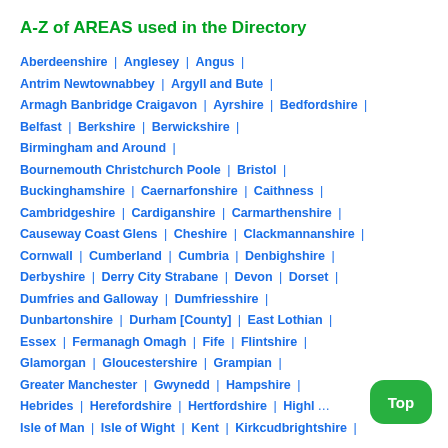A-Z of AREAS used in the Directory
Aberdeenshire | Anglesey | Angus | Antrim Newtownabbey | Argyll and Bute | Armagh Banbridge Craigavon | Ayrshire | Bedfordshire | Belfast | Berkshire | Berwickshire | Birmingham and Around | Bournemouth Christchurch Poole | Bristol | Buckinghamshire | Caernarfonshire | Caithness | Cambridgeshire | Cardiganshire | Carmarthenshire | Causeway Coast Glens | Cheshire | Clackmannanshire | Cornwall | Cumberland | Cumbria | Denbighshire | Derbyshire | Derry City Strabane | Devon | Dorset | Dumfries and Galloway | Dumfriesshire | Dunbartonshire | Durham [County] | East Lothian | Essex | Fermanagh Omagh | Fife | Flintshire | Glamorgan | Gloucestershire | Grampian | Greater Manchester | Gwynedd | Hampshire | Hebrides | Herefordshire | Hertfordshire | Highlands | Isle of Man | Isle of Wight | Kent | Kirkcudbrightshire